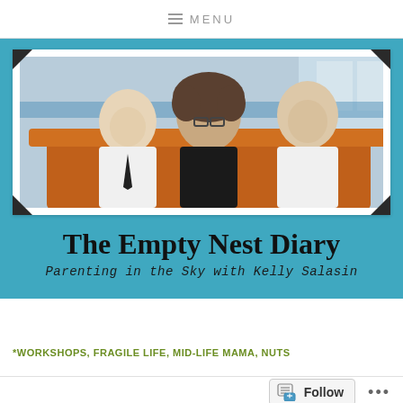≡ MENU
[Figure (photo): Blog header photo showing a woman with curly hair and glasses flanked by two young men in white shirts, sitting on an orange couch. Displayed in a white photo frame with dark corner brackets on a teal background.]
The Empty Nest Diary
Parenting in the Sky with Kelly Salasin
*WORKSHOPS, FRAGILE LIFE, MID-LIFE MAMA, NUTS
Follow ...